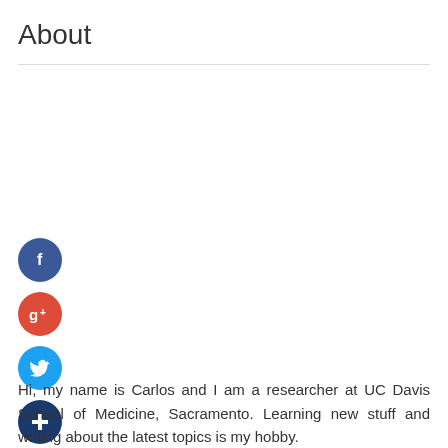About
[Figure (infographic): Four social media icon circles stacked vertically: Facebook (dark blue, f), Google+ (red, g+), Twitter (light blue, bird), and a dark blue plus (+) button.]
Hi, my name is Carlos and I am a researcher at UC Davis School of Medicine, Sacramento. Learning new stuff and writing about the latest topics is my hobby.